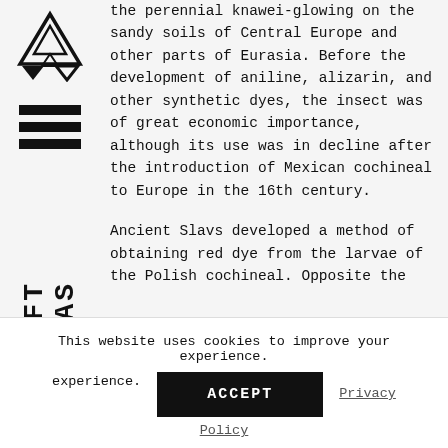[Figure (logo): Craft Atlas logo: stacked triangles icon above three horizontal bars, with 'CRAFT ATLAS' text rotated vertically]
the perennial knawei-glowing on the sandy soils of Central Europe and other parts of Eurasia. Before the development of aniline, alizarin, and other synthetic dyes, the insect was of great economic importance, although its use was in decline after the introduction of Mexican cochineal to Europe in the 16th century.
Ancient Slavs developed a method of obtaining red dye from the larvae of the Polish cochineal. Opposite the...
This website uses cookies to improve your experience.  ACCEPT  Privacy Policy